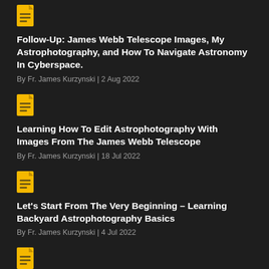[Figure (illustration): Yellow document icon with lines]
Follow-Up: James Webb Telescope Images, My Astrophotography, and How To Navigate Astronomy In Cyberspace.
By Fr. James Kurzynski | 2 Aug 2022
[Figure (illustration): Yellow document icon with lines]
Learning How To Edit Astrophotography With Images From The James Webb Telescope
By Fr. James Kurzynski | 18 Jul 2022
[Figure (illustration): Yellow document icon with lines]
Let's Start From The Very Beginning – Learning Backyard Astrophotography Basics
By Fr. James Kurzynski | 4 Jul 2022
[Figure (illustration): Yellow document icon with lines (partial, bottom of page)]